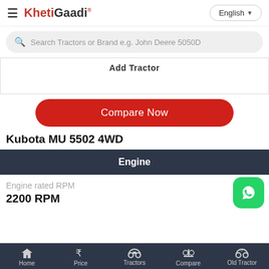KhetiGaadi — English
Search Tractors or Brand e.g. John Deere 5050D
Add Tractor
Compare Now
Kubota MU 5502 4WD
Engine
Engine rated RPM
2200 RPM
Home  Price  Tractors  Compare  Old Tractor